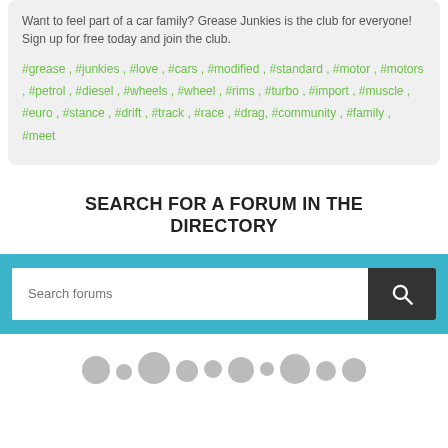Want to feel part of a car family? Grease Junkies is the club for everyone! Sign up for free today and join the club.
#grease , #junkies , #love , #cars , #modified , #standard , #motor , #motors , #petrol , #diesel , #wheels , #wheel , #rims , #turbo , #import , #muscle , #euro , #stance , #drift , #track , #race , #drag, #community , #family , #meet
SEARCH FOR A FORUM IN THE DIRECTORY
[Figure (screenshot): Search input bar with placeholder text 'Search forums' and a dark search button with magnifying glass icon, set on a teal/cyan background]
[Figure (illustration): Row of circular avatar icons in varying sizes at the bottom of the page, all in gray]